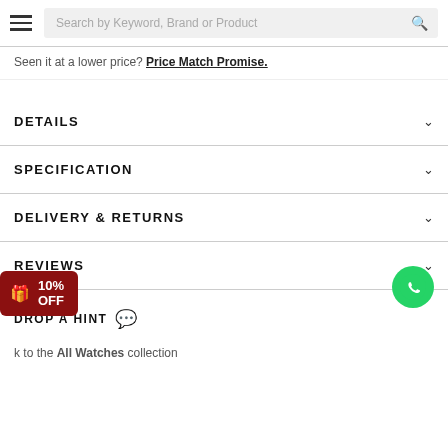Search by Keyword, Brand or Product
Seen it at a lower price? Price Match Promise.
DETAILS
SPECIFICATION
DELIVERY & RETURNS
REVIEWS
DROP A HINT
k to the All Watches collection
10% OFF